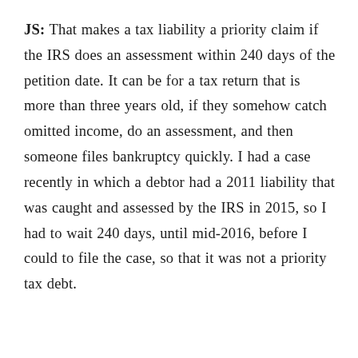JS: That makes a tax liability a priority claim if the IRS does an assessment within 240 days of the petition date. It can be for a tax return that is more than three years old, if they somehow catch omitted income, do an assessment, and then someone files bankruptcy quickly. I had a case recently in which a debtor had a 2011 liability that was caught and assessed by the IRS in 2015, so I had to wait 240 days, until mid-2016, before I could to file the case, so that it was not a priority tax debt.